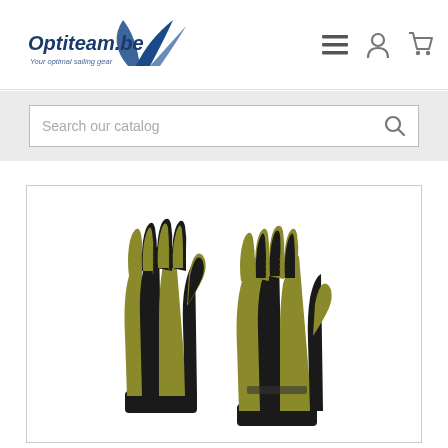Optiteam.be — Your optimal sailing gear
Search our catalog
[Figure (photo): Two sailing gloves (fingerless, black and olive/yellow-green color) held up against a white background, showing palm side and back side.]